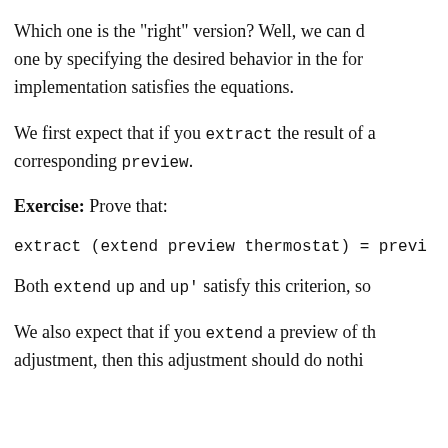Which one is the "right" version? Well, we can decide one by specifying the desired behavior in the form of equations, then verifying that our implementation satisfies the equations.
We first expect that if you extract the result of a computation, you should get the corresponding preview.
Exercise: Prove that:
Both extend up and up' satisfy this criterion, so
We also expect that if you extend a preview of the thermostat's current adjustment, then this adjustment should do nothing.